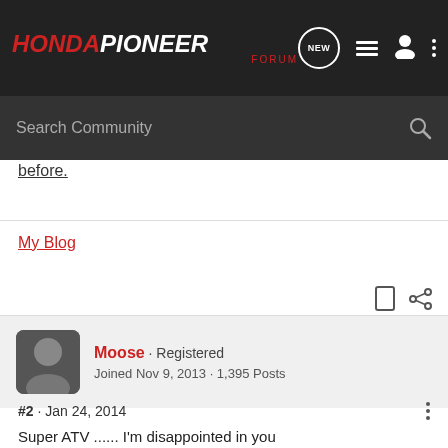HondaPioneer Forum
before.
My Blog
Moose · Registered
Joined Nov 9, 2013 · 1,395 Posts
#2 · Jan 24, 2014
Super ATV ...... I'm disappointed in you